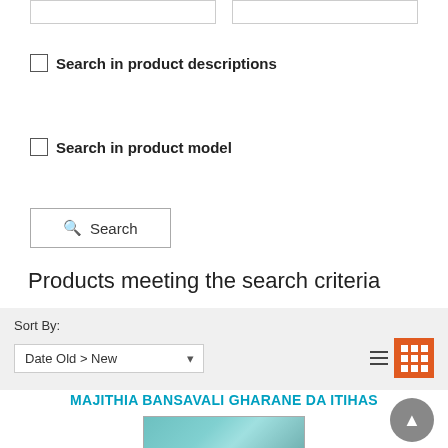Search in product descriptions
Search in product model
Search
Products meeting the search criteria
Sort By: Date Old > New
MAJITHIA BANSAVALI GHARANE DA ITIHAS